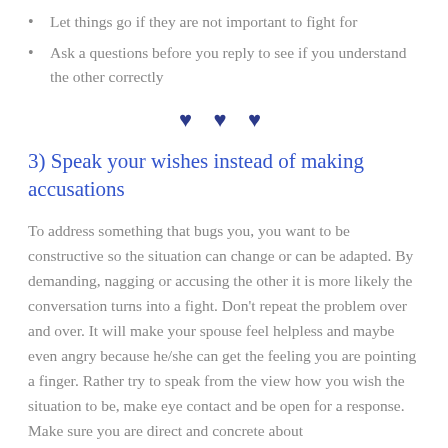Let things go if they are not important to fight for
Ask a questions before you reply to see if you understand the other correctly
[Figure (illustration): Three dark blue heart symbols centered on the page as a decorative divider]
3) Speak your wishes instead of making accusations
To address something that bugs you, you want to be constructive so the situation can change or can be adapted. By demanding, nagging or accusing the other it is more likely the conversation turns into a fight. Don’t repeat the problem over and over. It will make your spouse feel helpless and maybe even angry because he/she can get the feeling you are pointing a finger. Rather try to speak from the view how you wish the situation to be, make eye contact and be open for a response. Make sure you are direct and concrete about